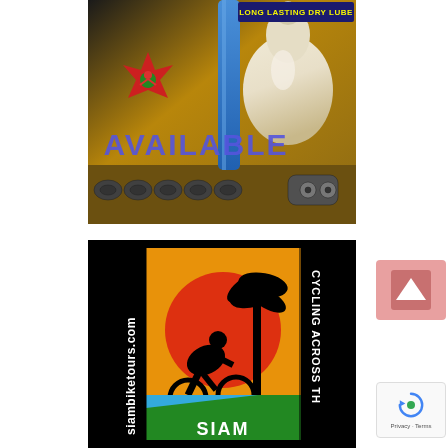[Figure (photo): Close-up photo of a bicycle chain being lubricated with a white bottle of long lasting dry lube. Red starburst logo visible. Text 'AVAILABLE' overlaid in blue/purple. Label 'LONG LASTING DRY LUBE' in top right corner.]
[Figure (logo): Siam Bike Tours logo on black background. Features a silhouette of a cyclist against an orange/red sunset with palm tree. Text 'siambiketours.com' vertically on left side, 'CYCLING ACROSS SIAM TH...' vertically on right side. 'SIAM' text at bottom center.]